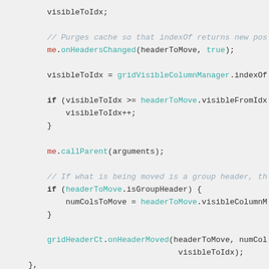[Figure (screenshot): Source code screenshot showing JavaScript code with syntax highlighting on a light gray background. Code includes method calls, conditionals, and comments.]